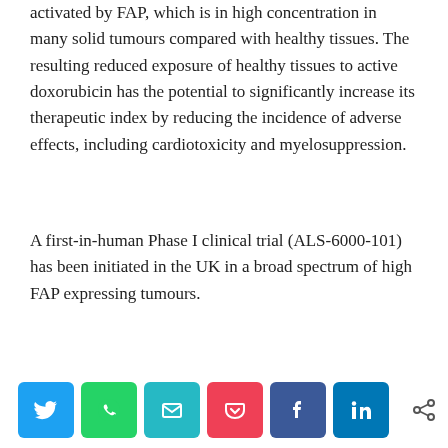activated by FAP, which is in high concentration in many solid tumours compared with healthy tissues. The resulting reduced exposure of healthy tissues to active doxorubicin has the potential to significantly increase its therapeutic index by reducing the incidence of adverse effects, including cardiotoxicity and myelosuppression.
A first-in-human Phase I clinical trial (ALS-6000-101) has been initiated in the UK in a broad spectrum of high FAP expressing tumours.
The poster can be downloaded from Avacta's website at: www.avacta.com/about/resources.
– ENDS –
For further information from Avacta Group plc,